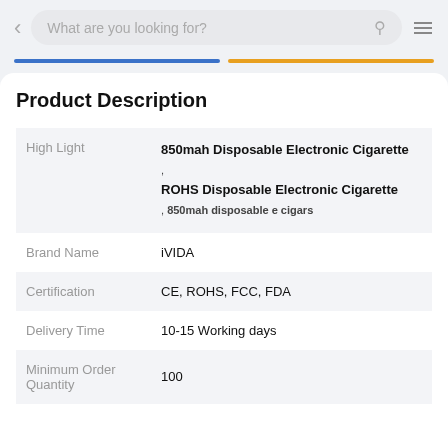What are you looking for?
Product Description
|  |  |
| --- | --- |
| High Light | 850mah Disposable Electronic Cigarette
, ROHS Disposable Electronic Cigarette
, 850mah disposable e cigars |
| Brand Name | iVIDA |
| Certification | CE, ROHS, FCC, FDA |
| Delivery Time | 10-15 Working days |
| Minimum Order Quantity | 100 |